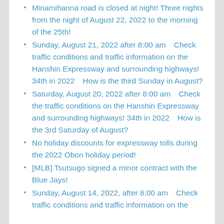Minamihanna road is closed at night! Three nights from the night of August 22, 2022 to the morning of the 25th!
Sunday, August 21, 2022 after 8:00 am　Check traffic conditions and traffic information on the Hanshin Expressway and surrounding highways! 34th in 2022　How is the third Sunday in August?
Saturday, August 20, 2022 after 8:00 am　Check the traffic conditions on the Hanshin Expressway and surrounding highways! 34th in 2022　How is the 3rd Saturday of August?
No holiday discounts for expressway tolls during the 2022 Obon holiday period!
[MLB] Tsutsugo signed a minor contract with the Blue Jays!
Sunday, August 14, 2022, after 8:00 am　Check traffic conditions and traffic information on the